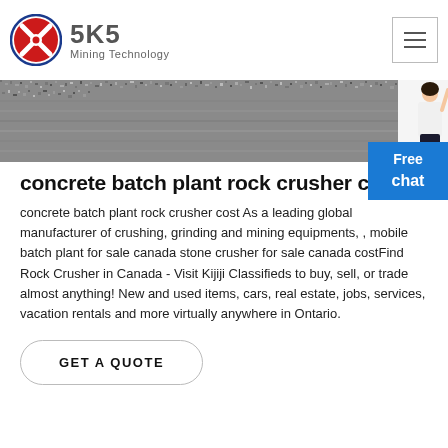SKS Mining Technology
[Figure (photo): Grayscale texture image of crushed rock/gravel aggregate with a woman figure on the right side]
concrete batch plant rock crusher cost
concrete batch plant rock crusher cost As a leading global manufacturer of crushing, grinding and mining equipments, , mobile batch plant for sale canada stone crusher for sale canada costFind Rock Crusher in Canada - Visit Kijiji Classifieds to buy, sell, or trade almost anything! New and used items, cars, real estate, jobs, services, vacation rentals and more virtually anywhere in Ontario.
GET A QUOTE